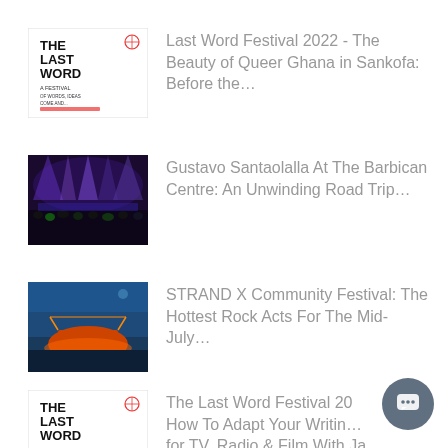Last Word Festival 2022 - The Beauty of Queer Ghana in Sankofa: Before the…
Gustavo Santaolalla At The Barbican Centre: An Unwinding Road Trip…
STRAND X Community Festival: The Hottest Rock Acts For The Mid-July…
The Last Word Festival 2022 - How To Adapt Your Writing for TV, Radio & Film With Ja…